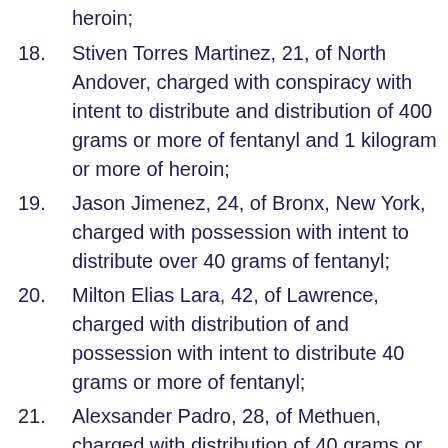heroin;
18. Stiven Torres Martinez, 21, of North Andover, charged with conspiracy with intent to distribute and distribution of 400 grams or more of fentanyl and 1 kilogram or more of heroin;
19. Jason Jimenez, 24, of Bronx, New York, charged with possession with intent to distribute over 40 grams of fentanyl;
20. Milton Elias Lara, 42, of Lawrence, charged with distribution of and possession with intent to distribute 40 grams or more of fentanyl;
21. Alexsander Padro, 28, of Methuen, charged with distribution of 40 grams or more of fentanyl;
22. John Mena, 24, of Lawrence, charged with possession with intent to distribute and